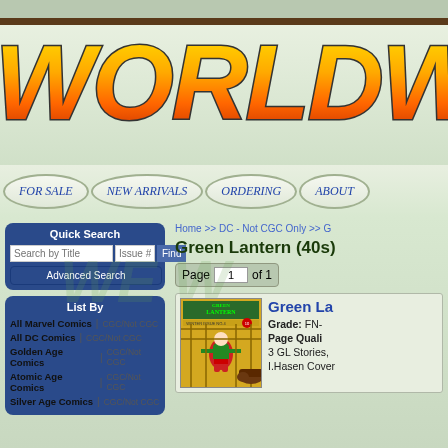[Figure (logo): Worldwide Comics logo in large italic Impact font with yellow-to-orange gradient and dark stroke, partially cropped on right side]
FOR SALE | NEW ARRIVALS | ORDERING | ABOUT
Quick Search
Search by Title | Issue # | Find | Advanced Search
List By
All Marvel Comics | CGC/Not CGC
All DC Comics | CGC/Not CGC
Golden Age Comics | CGC/Not CGC
Atomic Age Comics | CGC/Not CGC
Silver Age Comics | CGC/Not CGC
Home >> DC - Not CGC Only >> G
Green Lantern (40s)
Page 1 of 1
[Figure (photo): Green Lantern comic book cover, Winter Issue No.4, showing Green Lantern character in yellow and green costume]
Green La... Grade: FN- Page Quali... 3 GL Stories, I.Hasen Cover